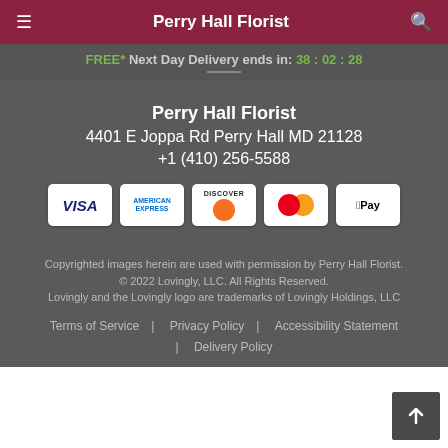Perry Hall Florist
FREE* Next Day Delivery ends in: 38 : 02 : 28
Perry Hall Florist
4401 E Joppa Rd Perry Hall MD 21128
+1 (410) 256-5588
[Figure (logo): Payment method icons: Visa, American Express, Discover, Mastercard, Apple Pay]
Copyrighted images herein are used with permission by Perry Hall Florist.
© 2022 Lovingly, LLC. All Rights Reserved.
Lovingly and the Lovingly logo are trademarks of Lovingly Holdings, LLC
Terms of Service | Privacy Policy | Accessibility Statement | Delivery Policy